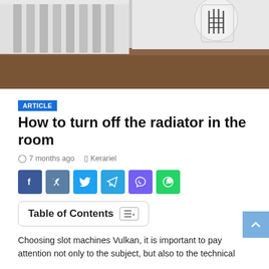[Figure (photo): Photo of a white radiator with fins/panels visible on the left, and a white thermostatic radiator valve on the right side, with a wooden surface visible in background.]
ARTICLE
How to turn off the radiator in the room
7 months ago   Kerariel
[Figure (infographic): Social share buttons: Facebook (blue), VK (steel blue), Twitter (light blue), Telegram (cyan-blue), Viber (purple), WhatsApp (green)]
Table of Contents
Choosing slot machines Vulkan, it is important to pay attention not only to the subject, but also to the technical